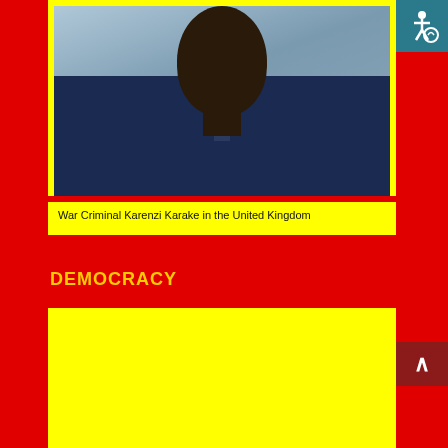[Figure (photo): Photo of a man in a blue suit and tie, cropped at chest level, with window/outdoor background]
War Criminal Karenzi Karake in the United Kingdom
DEMOCRACY
[Figure (other): Yellow rectangle area below DEMOCRACY section header]